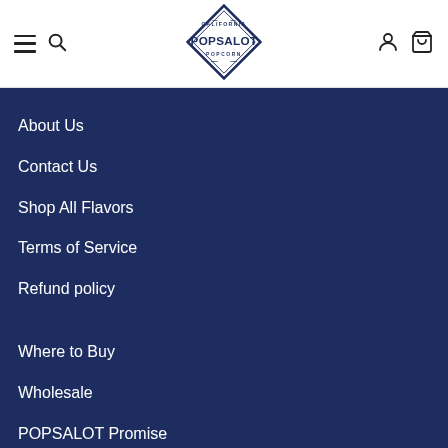[Figure (logo): California Popsalot Popcorn diamond-shaped logo in navy blue]
About Us
Contact Us
Shop All Flavors
Terms of Service
Refund policy
Where to Buy
Wholesale
POPSALOT Promise
Nutrition